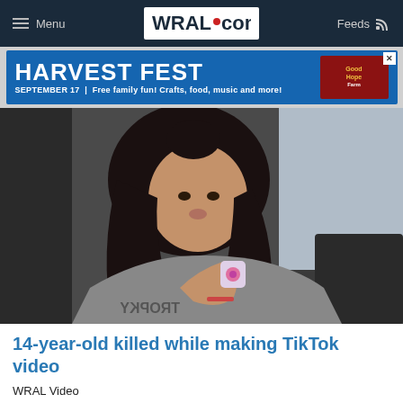Menu | WRAL.com | Feeds
[Figure (screenshot): Advertisement banner for Harvest Fest, September 17. Free family fun! Crafts, food, music and more! with Good Hope Farm logo.]
[Figure (photo): A young teenage girl sitting in a car, holding a small decorative object, wearing a grey t-shirt with dark long wavy hair.]
14-year-old killed while making TikTok video
WRAL Video